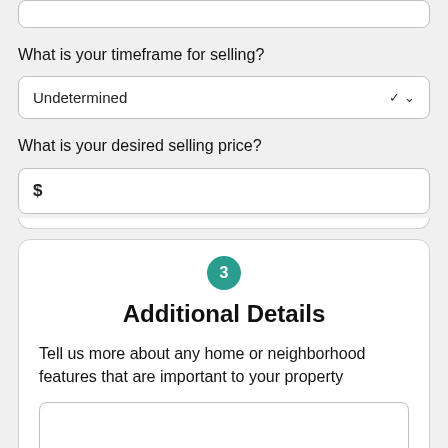What is your timeframe for selling?
Undetermined
What is your desired selling price?
$
Additional Details
Tell us more about any home or neighborhood features that are important to your property